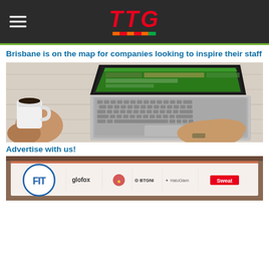TTG
Brisbane is on the map for companies looking to inspire their staff
[Figure (photo): Person holding a coffee cup with one hand and using a laptop with the other hand on a wooden desk. The laptop screen shows a travel website with green header.]
Advertise with us!
[Figure (photo): A conference or expo display board showing the FIT logo (circle with FIT text) alongside sponsor logos including glofox, BTGNI, HaloGlam, and Sweat (in red box).]